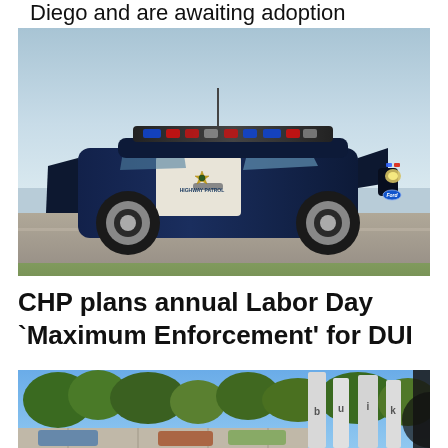Diego and are awaiting adoption
[Figure (photo): CHP Ford Explorer police SUV (black and white) driving on a road, with blue and red emergency lights on the roof bar, green grass in the background and overcast sky.]
CHP plans annual Labor Day `Maximum Enforcement' for DUI
[Figure (photo): Partial view of a commercial building or dealership with tall white signage pillars, trees, and a parking lot visible.]